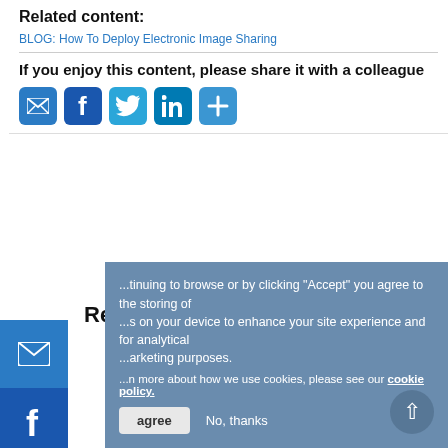Related content:
BLOG: How To Deploy Electronic Image Sharing
If you enjoy this content, please share it with a colleague
[Figure (infographic): Social sharing buttons: email, Facebook, Twitter, LinkedIn, plus/share]
Related Content
[Figure (infographic): Left sidebar social sharing buttons: email, Facebook, Twitter, LinkedIn, plus/share]
...tinuing to browse or by clicking "Accept" you agree to the storing of ...s on your device to enhance your site experience and for analytical ...arketing purposes.
...n more about how we use cookies, please see our cookie policy.
agree   No, thanks